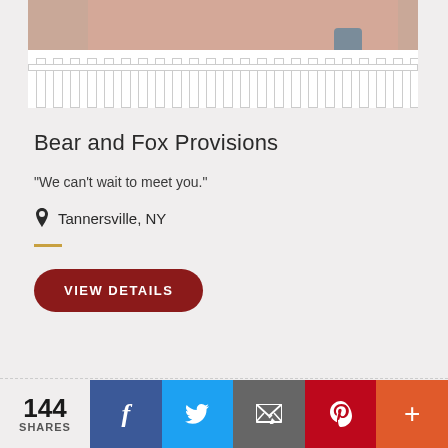[Figure (photo): Exterior photo of Bear and Fox Provisions building showing a white railing/deck in the foreground, peach/salmon colored building exterior with windows, and a gray chair and yellow table visible on the right side.]
Bear and Fox Provisions
"We can't wait to meet you."
Tannersville, NY
VIEW DETAILS
144 SHARES